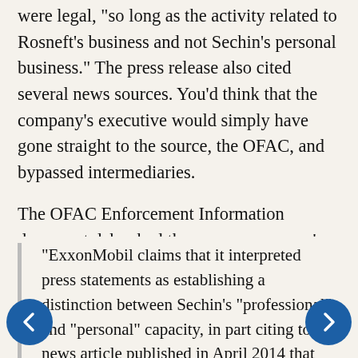were legal, "so long as the activity related to Rosneft's business and not Sechin's personal business." The press release also cited several news sources. You'd think that the company's executive would simply have gone straight to the source, the OFAC, and bypassed intermediaries.
The OFAC Enforcement Information document debunked the energy company's claim:
"ExxonMobil claims that it interpreted press statements as establishing a distinction between Sechin's "professional" and "personal" capacity, in part citing to a news article published in April 2014 that quoted a Department of the Treasury representative as